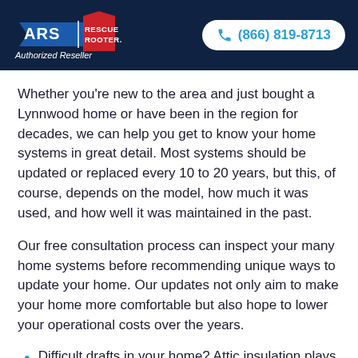[Figure (logo): ARS Rescue Rooter logo with blue and red house graphic and 'Authorized Reseller' text below]
(866) 819-8713
Whether you're new to the area and just bought a Lynnwood home or have been in the region for decades, we can help you get to know your home systems in great detail. Most systems should be updated or replaced every 10 to 20 years, but this, of course, depends on the model, how much it was used, and how well it was maintained in the past.
Our free consultation process can inspect your many home systems before recommending unique ways to update your home. Our updates not only aim to make your home more comfortable but also hope to lower your operational costs over the years.
Difficult drafts in your home? Attic insulation plays